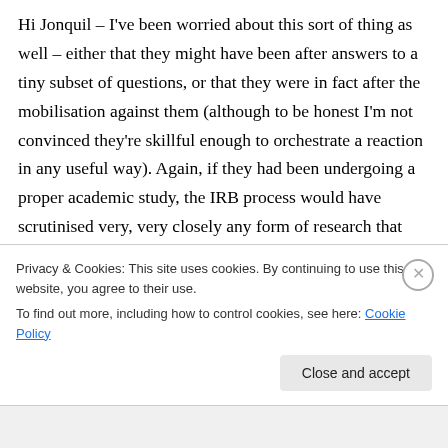Hi Jonquil – I've been worried about this sort of thing as well – either that they might have been after answers to a tiny subset of questions, or that they were in fact after the mobilisation against them (although to be honest I'm not convinced they're skillful enough to orchestrate a reaction in any useful way). Again, if they had been undergoing a proper academic study, the IRB process would have scrutinised very, very closely any form of research that doesn't declare openly to participants what the research is for –
Privacy & Cookies: This site uses cookies. By continuing to use this website, you agree to their use.
To find out more, including how to control cookies, see here: Cookie Policy
Close and accept